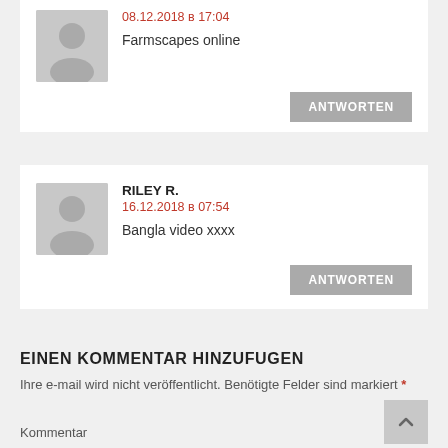08.12.2018 в 17:04
Farmscapes online
ANTWORTEN
RILEY R.
16.12.2018 в 07:54
Bangla video xxxx
ANTWORTEN
EINEN KOMMENTAR HINZUFUGEN
Ihre e-mail wird nicht veröffentlicht. Benötigte Felder sind markiert *
Kommentar